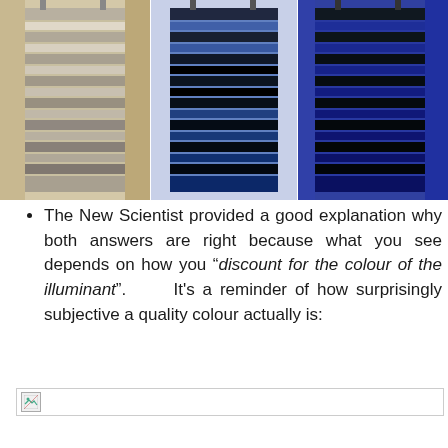[Figure (photo): Three versions of the famous dress photo side by side — left image appears white and gold/brown striped, middle appears blue and dark striped under different lighting, right appears blue and black striped. The dress is shown in a shop context.]
The New Scientist provided a good explanation why both answers are right because what you see depends on how you "discount for the colour of the illuminant". It's a reminder of how surprisingly subjective a quality colour actually is:
[Figure (photo): Broken image placeholder (image failed to load)]